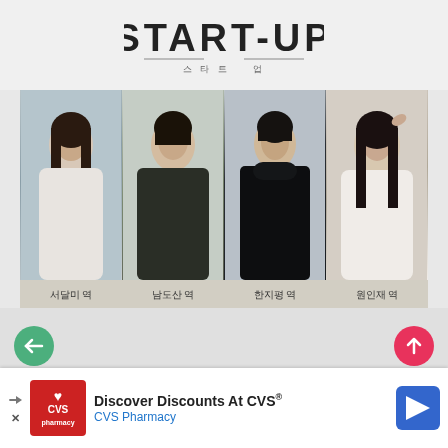[Figure (illustration): START-UP Korean drama logo with stylized text and Korean subtitle 스타트업]
[Figure (photo): Promotional poster for Korean drama START-UP showing four cast members (서달미 역, 남도산 역, 한지평 역, 원인재 역) with Korean promotional text: 청춘들의 시작(START)과 성장(UP) 그릴 청춘 코딩 로맨스 <스타트업> 10월에 만나요!]
서달미 역  남도산 역  한지평 역  원인재 역
청춘들의 시작(START)과 성장(UP) 그릴 청춘 코딩 로맨스 <스타트업> 10월에 만나요!
[Figure (infographic): CVS Pharmacy advertisement banner: 'Discover Discounts At CVS® CVS Pharmacy' with CVS logo and navigation arrow]